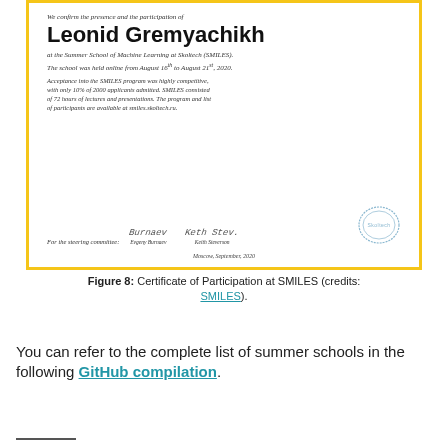[Figure (photo): Certificate of Participation at SMILES (Summer School of Machine Learning at Skoltech) for Leonid Gremyachikh, with yellow border, two signatures (Evgeny Burnaev, Keith Steverson), and a Skoltech stamp. Moscow, September 2020.]
Figure 8: Certificate of Participation at SMILES (credits: SMILES).
You can refer to the complete list of summer schools in the following GitHub compilation.